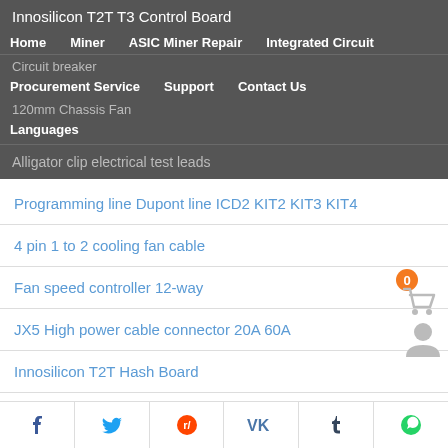Innosilicon T2T T3 Control Board
Home
Miner
ASIC Miner Repair
Integrated Circuit
Circuit breaker
Procurement Service
Support
Contact Us
120mm Chassis Fan
Languages
Alligator clip electrical test leads
Programming line Dupont line ICD2 KIT2 KIT3 KIT4
4 pin 1 to 2 cooling fan cable
Fan speed controller 12-way
JX5 High power cable connector 20A 60A
Innosilicon T2T Hash Board
Innosilicon T2 Hash Board